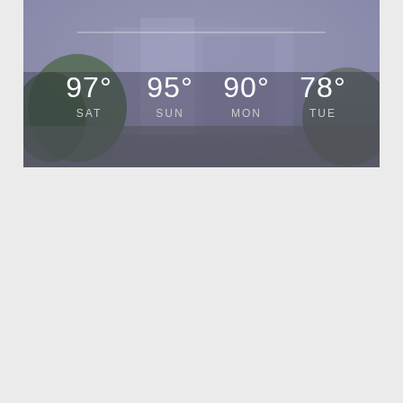[Figure (photo): A blurred outdoor photo of a building/house with trees and sky, used as a weather app background. Overlaid with a 4-day forecast showing temperatures and day names: SAT 97°, SUN 95°, MON 90°, TUE 78°.]